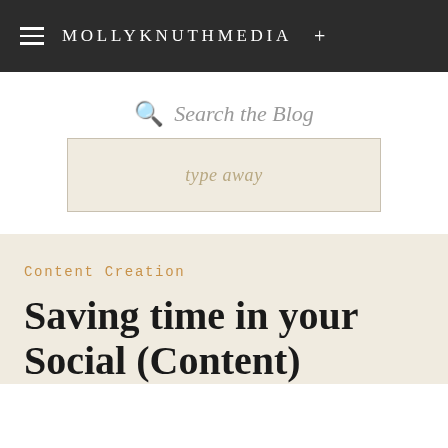MOLLYKNUTHMEDIA +
Search the Blog
type away
Content Creation
Saving time in your Social (Content)